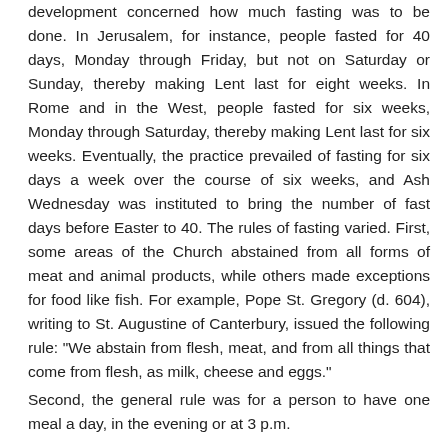development concerned how much fasting was to be done. In Jerusalem, for instance, people fasted for 40 days, Monday through Friday, but not on Saturday or Sunday, thereby making Lent last for eight weeks. In Rome and in the West, people fasted for six weeks, Monday through Saturday, thereby making Lent last for six weeks. Eventually, the practice prevailed of fasting for six days a week over the course of six weeks, and Ash Wednesday was instituted to bring the number of fast days before Easter to 40. The rules of fasting varied. First, some areas of the Church abstained from all forms of meat and animal products, while others made exceptions for food like fish. For example, Pope St. Gregory (d. 604), writing to St. Augustine of Canterbury, issued the following rule: "We abstain from flesh, meat, and from all things that come from flesh, as milk, cheese and eggs."
Second, the general rule was for a person to have one meal a day, in the evening or at 3 p.m.